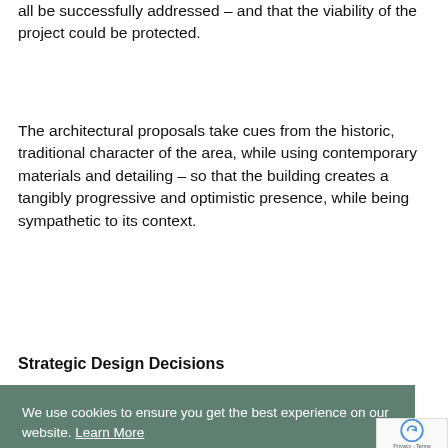all be successfully addressed – and that the viability of the project could be protected.
The architectural proposals take cues from the historic, traditional character of the area, while using contemporary materials and detailing – so that the building creates a tangibly progressive and optimistic presence, while being sympathetic to its context.
Strategic Design Decisions
The design was informed by rigorous analytical investigation, so that the constraints and opportunities presented by the site could be fully understood and exploited. The critical issues were the steeply sloped topography and limited access.